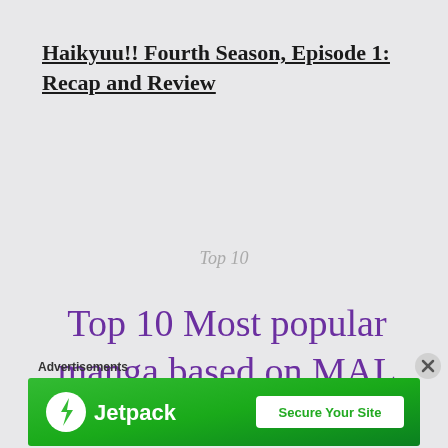Haikyuu!! Fourth Season, Episode 1: Recap and Review
Top 10
Top 10 Most popular manga based on MAL
Advertisements
[Figure (screenshot): Jetpack advertisement banner with green background showing Jetpack logo and 'Secure Your Site' button]